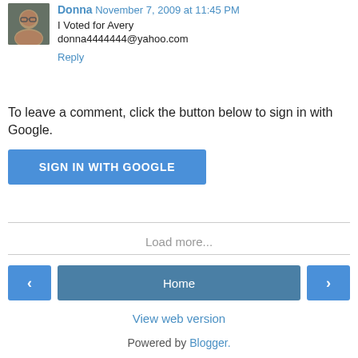Donna  November 7, 2009 at 11:45 PM
I Voted for Avery
donna4444444@yahoo.com
Reply
To leave a comment, click the button below to sign in with Google.
[Figure (other): Blue button labeled SIGN IN WITH GOOGLE]
Load more...
[Figure (other): Navigation bar with left arrow button, Home button, and right arrow button]
View web version
Powered by Blogger.